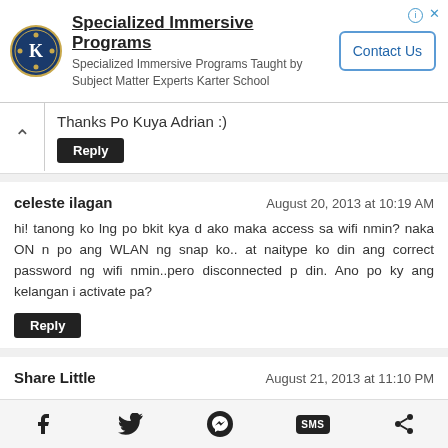[Figure (other): Advertisement banner for Specialized Immersive Programs by Karter School with logo and Contact Us button]
Thanks Po Kuya Adrian :)
Reply
celeste ilagan
August 20, 2013 at 10:19 AM
hi! tanong ko lng po bkit kya d ako maka access sa wifi nmin? naka ON n po ang WLAN ng snap ko.. at naitype ko din ang correct password ng wifi nmin..pero disconnected p din. Ano po ky ang kelangan i activate pa?
Reply
Share Little
August 21, 2013 at 11:10 PM
Is there a free application to make this phone screen turn on
[Figure (other): Bottom navigation bar with social sharing icons: Facebook, Twitter, Messenger, SMS, Share]